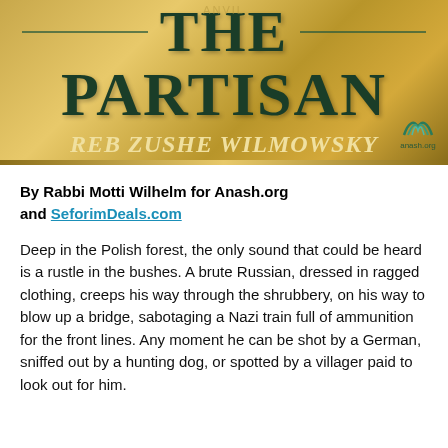[Figure (illustration): Book cover banner for 'The Partisan – Reb Zushe Wilmowsky' on a gold background with dark green serif text and decorative lines, published by anash.org]
By Rabbi Motti Wilhelm for Anash.org and SeforimDeals.com
Deep in the Polish forest, the only sound that could be heard is a rustle in the bushes. A brute Russian, dressed in ragged clothing, creeps his way through the shrubbery, on his way to blow up a bridge, sabotaging a Nazi train full of ammunition for the front lines. Any moment he can be shot by a German, sniffed out by a hunting dog, or spotted by a villager paid to look out for him.